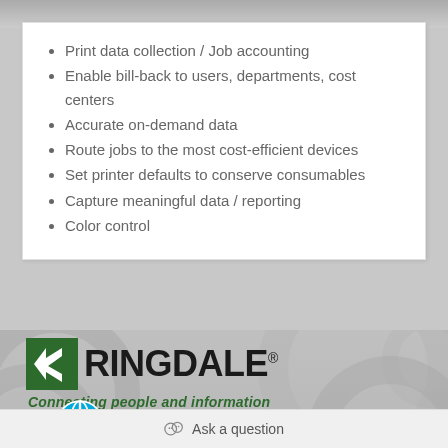Print data collection / Job accounting
Enable bill-back to users, departments, cost centers
Accurate on-demand data
Route jobs to the most cost-efficient devices
Set printer defaults to conserve consumables
Capture meaningful data / reporting
Color control
[Figure (logo): Ringdale logo with green square containing white arrow/checkmark icon, bold text RINGDALE with registered trademark symbol, and tagline 'Connecting people and information' in green italic bold]
Ask a question